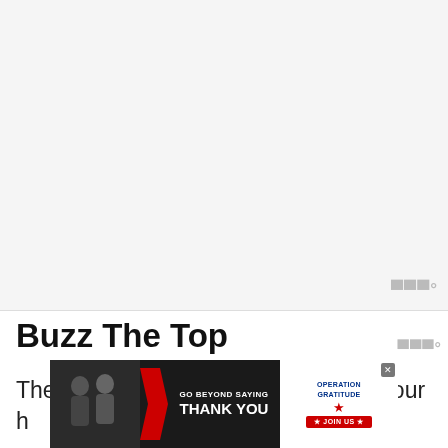[Figure (photo): Large blank/white image placeholder area at top of page with a watermark icon in bottom-right corner]
Buzz The Top
The top will determine the length of your h...
[Figure (photo): Advertisement banner: 'Go Beyond Saying Thank You - Operation Gratitude - Join Us' with people in background on left and logo/button on right. Close button (x) in top right corner.]